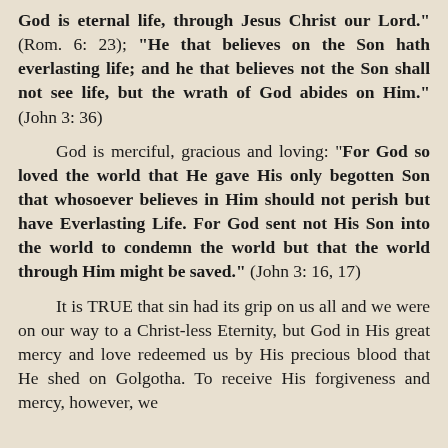God is eternal life, through Jesus Christ our Lord." (Rom. 6: 23); "He that believes on the Son hath everlasting life; and he that believes not the Son shall not see life, but the wrath of God abides on Him." (John 3: 36)

    God is merciful, gracious and loving: "For God so loved the world that He gave His only begotten Son that whosoever believes in Him should not perish but have Everlasting Life. For God sent not His Son into the world to condemn the world but that the world through Him might be saved." (John 3: 16, 17)

    It is TRUE that sin had its grip on us all and we were on our way to a Christ-less Eternity, but God in His great mercy and love redeemed us by His precious blood that He shed on Golgotha. To receive His forgiveness and mercy, however, we